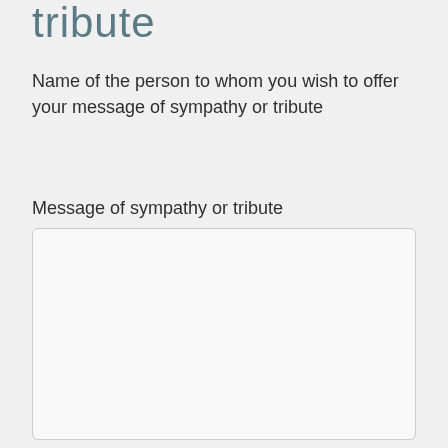tribute
Name of the person to whom you wish to offer your message of sympathy or tribute
Message of sympathy or tribute